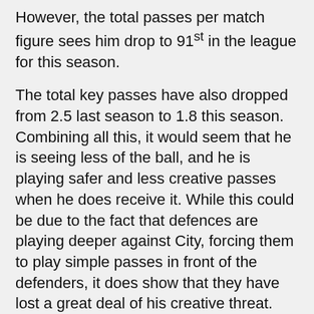However, the total passes per match figure sees him drop to 91st in the league for this season.
The total key passes have also dropped from 2.5 last season to 1.8 this season. Combining all this, it would seem that he is seeing less of the ball, and he is playing safer and less creative passes when he does receive it. While this could be due to the fact that defences are playing deeper against City, forcing them to play simple passes in front of the defenders, it does show that they have lost a great deal of his creative threat.
This is backed up by the fact that he is dribbling the ball no more often this season. Had this been higher, we could have surmised that he was keeping the ball to himself more often, rather than passing, but it would just seem that he is no longer the player that City look to give the ball to when they are looking to create something.
He is also far less of a goal threat this season. His shots per match have dropped from 1.9 to 0.9 this season, which could certainly help to explain why he has failed to